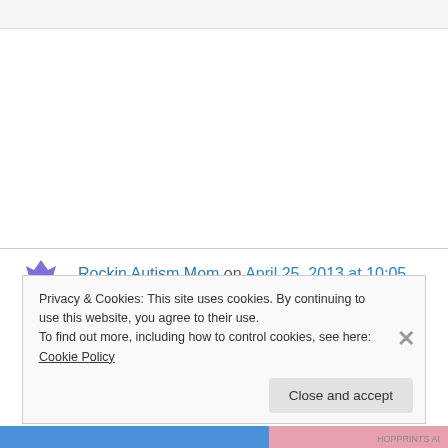Rockin Autism Mom on April 25, 2013 at 10:05 pm
Hi! 🙂 Love your blog! Found you through a bloghop thru story of a girl 🙂 Rockinautismmom.com /facebook.com/therockinautismmom
Privacy & Cookies: This site uses cookies. By continuing to use this website, you agree to their use. To find out more, including how to control cookies, see here: Cookie Policy